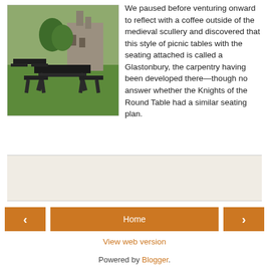[Figure (photo): Outdoor picnic tables with attached seating (Glastonbury style) on a grass lawn, with a medieval stone building visible in the background.]
We paused before venturing onward to reflect with a coffee outside of the medieval scullery and discovered that this style of picnic tables with the seating attached is called a Glastonbury, the carpentry having been developed there—though no answer whether the Knights of the Round Table had a similar seating plan.
[Figure (other): Advertisement box (gray/tan background, empty ad area)]
‹
Home
›
View web version
Powered by Blogger.